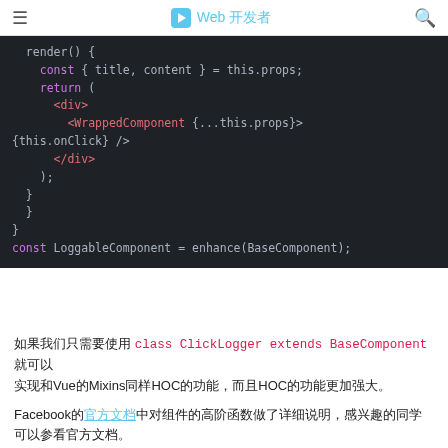Web 开发者
[Figure (screenshot): Dark-themed code editor screenshot showing a render() method with JSX returning a WrappedComponent, and a const LoggableComponent = enhance(BaseComponent) line.]
如果我们只需要使用 class ClickLogger extends BaseComponent 就可以实现和Vue的Mixins同样HOC的功能，而且HOC的功能更加强大。
Facebook的官方文档中对组件的高阶函数做了详细说明，感兴趣的同学可以参看官方文档。
Container Components